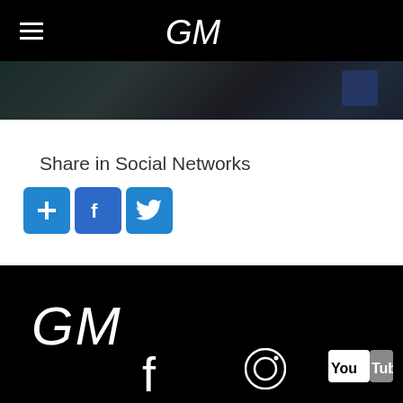≡  [logo/signature]
[Figure (photo): Dark/blurred photo strip below header navigation]
Share in Social Networks
[Figure (infographic): Three social share buttons: plus/add, Facebook (f), Twitter (bird)]
[Figure (logo): Stylized cursive/signature logo in white on black footer background]
[Figure (infographic): Footer social media icons: Facebook, Instagram, YouTube]